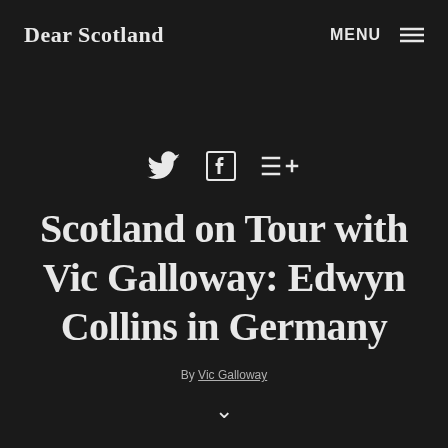Dear Scotland   MENU ☰
[Figure (other): Social sharing icons: Twitter bird icon, Facebook F icon, and a list/share icon with plus sign]
Scotland on Tour with Vic Galloway: Edwyn Collins in Germany
By Vic Galloway
∨